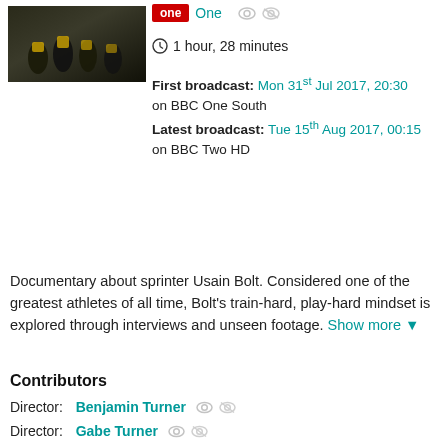[Figure (photo): Thumbnail photo showing sprinters on a track, BBC One documentary]
BBC One — 1 hour, 28 minutes
First broadcast: Mon 31st Jul 2017, 20:30 on BBC One South
Latest broadcast: Tue 15th Aug 2017, 00:15 on BBC Two HD
Documentary about sprinter Usain Bolt. Considered one of the greatest athletes of all time, Bolt's train-hard, play-hard mindset is explored through interviews and unseen footage. Show more
Contributors
Director: Benjamin Turner
Director: Gabe Turner